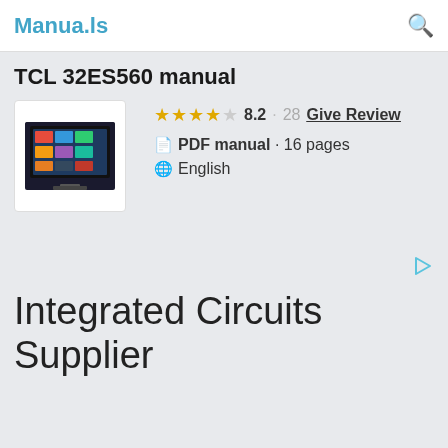Manua.ls
TCL 32ES560 manual
[Figure (screenshot): TCL 32ES560 TV product image showing a flat-screen TV with a smart TV interface on screen displaying app icons.]
★★★★☆ 8.2 · 28 Give Review
PDF manual · 16 pages
English
[Figure (other): Advertisement play/forward arrow icon in light blue]
Integrated Circuits Supplier